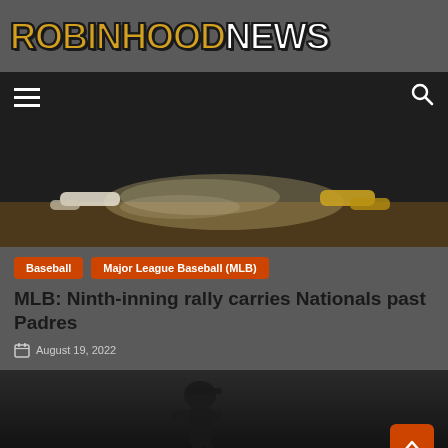[Figure (logo): RobinHood News logo in yellow/gold and white block letters with black outline]
[Figure (photo): Baseball player sliding into base with dust cloud, dark background]
Baseball
Major League Baseball (MLB)
MLB: Ninth-inning rally carries Nationals past Padres
August 19, 2022
[Figure (photo): Baseball player in dark uniform and helmet, partially visible against dark background]